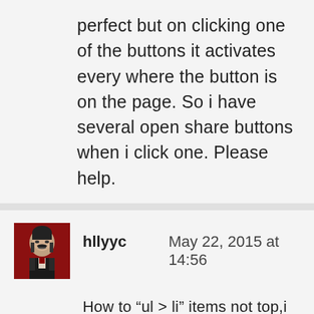perfect but on clicking one of the buttons it activates every where the button is on the page. So i have several open share buttons when i click one. Please help.
hllyyc  May 22, 2015 at 14:56
How to “ul > li” items not top,i want to do float right so not horizontally, how do vertically? And how to “ul > li > ul > li” tree?